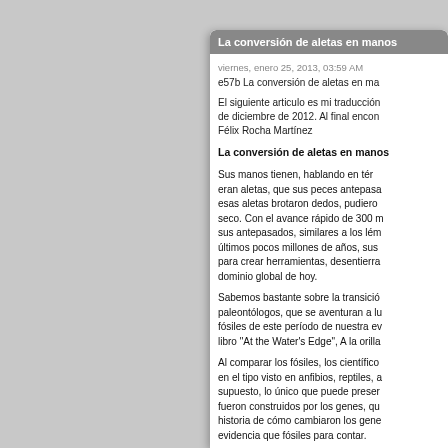La conversión de aletas en manos
viernes, enero 25, 2013, 03:59 AM
e57b La conversión de aletas en ma
El siguiente articulo es mi traducción de diciembre de 2012. Al final encontrará Félix Rocha Martínez
La conversión de aletas en manos
Sus manos tienen, hablando en términos que eran aletas, que sus peces antepasados esas aletas brotaron dedos, pudieron seco. Con el avance rápido de 300 m sus antepasados, similares a los lém últimos pocos millones de años, sus para crear herramientas, desenterrar dominio global de hoy.
Sabemos bastante sobre la transición paleontólogos, que se aventuran a lu fósiles de este período de nuestra ev libro "At the Water's Edge", A la orilla
Al comparar los fósiles, los científicos en el tipo visto en anfibios, reptiles, a supuesto, lo único que puede preser fueron construidos por los genes, qu historia de cómo cambiaron los genes evidencia que fósiles para contar.
Un equipo de cientificos españoles r